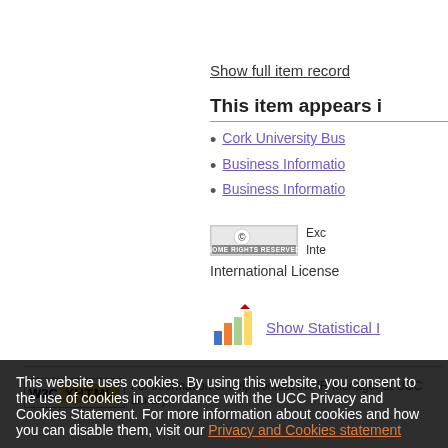Show full item record
This item appears i
Cork University Bus
Business Informatio
Business Informatio
[Figure (logo): Creative Commons Some Rights Reserved badge]
Exc... Inte... International License
[Figure (logo): Show Statistical Information icon - colorful bar chart graphic]
Show Statistical I
For information or help contact the IR Manager at UCC Library
This website uses cookies. By using this website, you consent to the use of cookies in accordance with the UCC Privacy and Cookies Statement. For more information about cookies and how you can disable them, visit our Privacy and Cookies statement